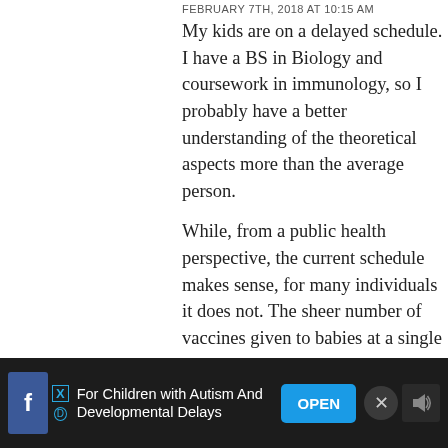FEBRUARY 7TH, 2018 AT 10:15 AM
My kids are on a delayed schedule. I have a BS in Biology and coursework in immunology, so I probably have a better understanding of the theoretical aspects more than the average person.
While, from a public health perspective, the current schedule makes sense, for many individuals it does not. The sheer number of vaccines given to babies at a single appointment is disturbing, and many of these contain preservatives, including aluminum, making having them administered more than one at a time. Not to mention if your child should have a reaction, it makes it that much harder.
Autism was never a concern for my family, as there is nothing to indicate we have a genetic predisposition.
However, that doesn't mean there aren't risks. Some vaccines, like Rotavirus vaccine, contain live virus that can develop into an infection, and are not necessary for the majority of babies.
Others, such as DTaP, I feel are important and do on schedule.
I think it's also very important to remember that as adults, we have even greater responsibility to ensure our vaccinations are
For Children with Autism And Developmental Delays